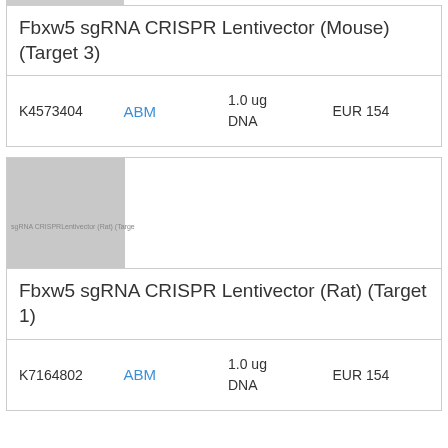Fbxw5 sgRNA CRISPR Lentivector (Mouse) (Target 3)
|  |  |  |  |
| --- | --- | --- | --- |
| K4573404 | ABM | 1.0 ug DNA | EUR 154 |
[Figure (photo): Gray placeholder image for Fbxw5 sgRNA CRISPR Lentivector (Rat) (Target 1) product]
Fbxw5 sgRNA CRISPR Lentivector (Rat) (Target 1)
|  |  |  |  |
| --- | --- | --- | --- |
| K7164802 | ABM | 1.0 ug DNA | EUR 154 |